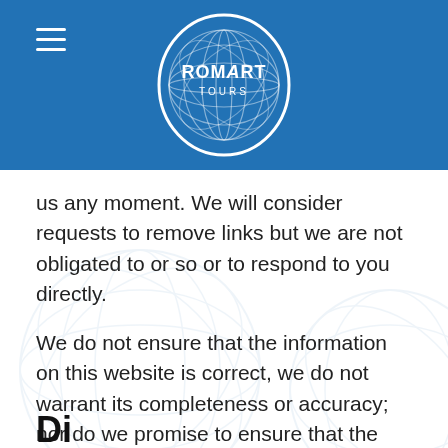[Figure (logo): Romart Tours logo: white oval outline containing a decorative sphere/globe pattern, with text 'ROMART TOURS' in white stylized letters]
us any moment. We will consider requests to remove links but we are not obligated to or so or to respond to you directly.
We do not ensure that the information on this website is correct, we do not warrant its completeness or accuracy; nor do we promise to ensure that the website remains available or that the material on the website is kept up to date.
Di...